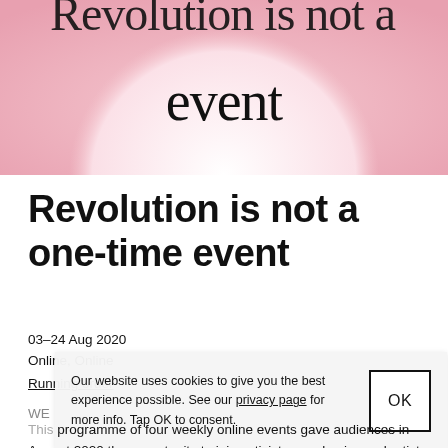[Figure (illustration): Pink gradient banner with a large white circle in the center and partial black serif text reading 'Revolution is not a one-time event' visible at the top. The word 'event' is visible in large serif font on the pink/white gradient background.]
Revolution is not a one-time event
03–24 Aug 2020
Online, Online
Running order
Our website uses cookies to give you the best experience possible. See our privacy page for more info. Tap OK to consent.
WE
This programme of four weekly online events gave audiences in August 2020 the opportunity to join activists, academics and artists